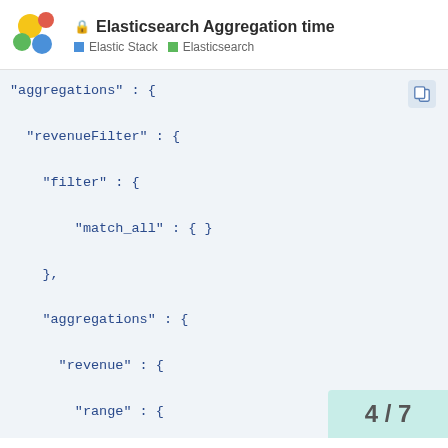Elasticsearch Aggregation time — Elastic Stack | Elasticsearch
"aggregations" : {

  "revenueFilter" : {

    "filter" : {

        "match_all" : { }

    },

    "aggregations" : {

      "revenue" : {

        "range" : {

          "field" : "revenue",

          "ranges" : [ {